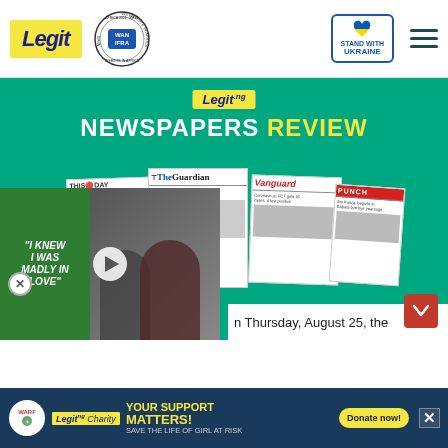[Figure (screenshot): Legit.ng website header with Legit logo in yellow background, WAN IFRA Best News Website in Africa 2021 badge, Stand With Ukraine badge with heart, and hamburger menu icon]
[Figure (screenshot): Legit.ng Newspapers Review banner with teal background showing multiple Nigerian newspaper front pages including The Guardian, ThisDay, Vanguard, and Punch, with a video overlay showing 'I KNEW I WAS MADLY IN LOVE' and a red scroll button]
n Thursday, August 25, the
[Figure (screenshot): Legit Charity banner with WARF logo, YOUR SUPPORT MATTERS! SAVE THE LIFE OF GIRL AT RISK text, and Donate now! button]